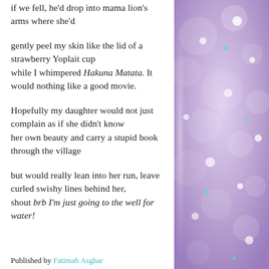if we fell, he'd drop into mama lion's arms where she'd

gently peel my skin like the lid of a strawberry Yoplait cup
while I whimpered Hakuna Matata. It would nothing like a good movie.

Hopefully my daughter would not just complain as if she didn't know her own beauty and carry a stupid book through the village

but would really lean into her run, leave curled swishy lines behind her,
shout brb I'm just going to the well for water!
[Figure (photo): Blurred bokeh photo of purple/lavender glittery water droplets or crystals on the right side of the page]
Published by Fatimah Asghar